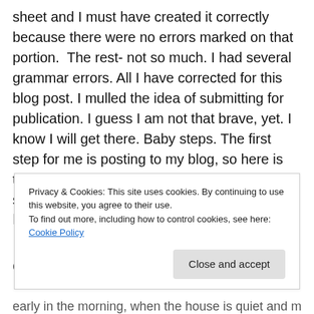sheet and I must have created it correctly because there were no errors marked on that portion.  The rest- not so much. I had several grammar errors. All I have corrected for this blog post. I mulled the idea of submitting for publication. I guess I am not that brave, yet. I know I will get there. Baby steps. The first step for me is posting to my blog, so here is the cover sheet first then my fiction short story- Catharsis.
Ms. Arleen
Cover Sheet:
Privacy & Cookies: This site uses cookies. By continuing to use this website, you agree to their use.
To find out more, including how to control cookies, see here: Cookie Policy
early in the morning, when the house is quiet and my spiri...